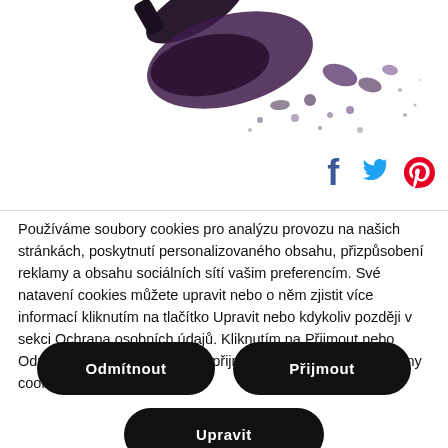[Figure (photo): Crushed dark purple/black eye shadow powder on white background, partially showing a cosmetic product at top]
[Figure (infographic): Social media icons: Facebook (blue f), Twitter (blue bird), Pinterest (red P)]
Používáme soubory cookies pro analýzu provozu na našich stránkách, poskytnutí personalizovaného obsahu, přizpůsobení reklamy a obsahu sociálních sítí vašim preferencím. Své natavení cookies můžete upravit nebo o něm zjistit více informací kliknutím na tlačítko Upravit nebo kdykoliv později v sekci Ochrana osobních údajů. Kliknutím na Přijmout nebo Odmítnout můžete jednoduše přijmout nebo odmítnou všechny cookies.
Odmítnout
Přijmout
Upravit